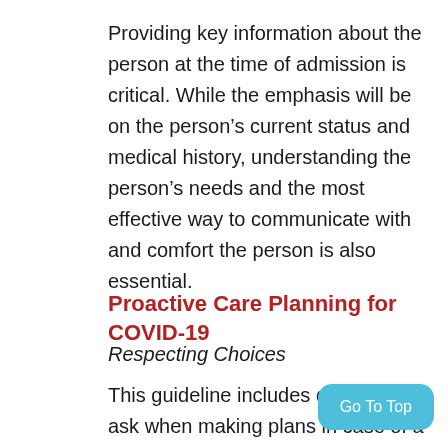Providing key information about the person at the time of admission is critical. While the emphasis will be on the person's current status and medical history, understanding the person's needs and the most effective way to communicate with and comfort the person is also essential.
Proactive Care Planning for COVID-19
Respecting Choices
This guideline includes questions to ask when making plans in case of a medical or health crisis, including “why is this important to do now? who should be